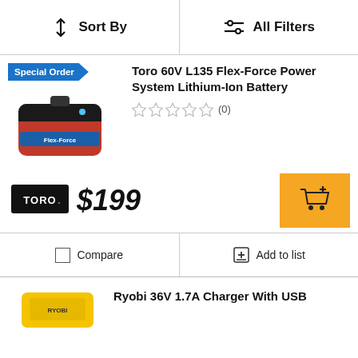Sort By
All Filters
Special Order
Toro 60V L135 Flex-Force Power System Lithium-Ion Battery
(0)
[Figure (logo): TORO brand logo — white text on black background]
$199
Compare
Add to list
Ryobi 36V 1.7A Charger With USB